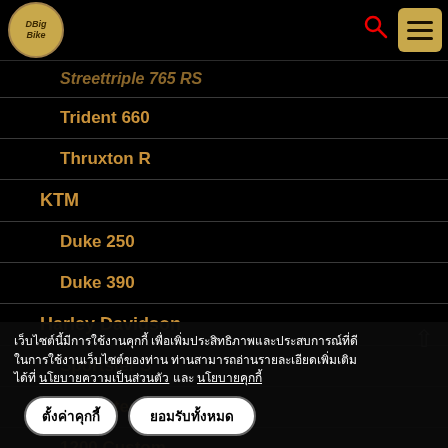DBigBike navigation menu header
Streettriple 765 RS
Trident 660
Thruxton R
KTM
Duke 250
Duke 390
Harley Davidson
Sportster S
Sportster Forty-Eight
1200 Custom
Iron 883
เว็บไซต์นี้มีการใช้งานคุกกี้ เพื่อเพิ่มประสิทธิภาพและประสบการณ์ที่ดีในการใช้งานเว็บไซต์ของท่าน ท่านสามารถอ่านรายละเอียดเพิ่มเติมได้ที่ นโยบายความเป็นส่วนตัว และ นโยบายคุกกี้